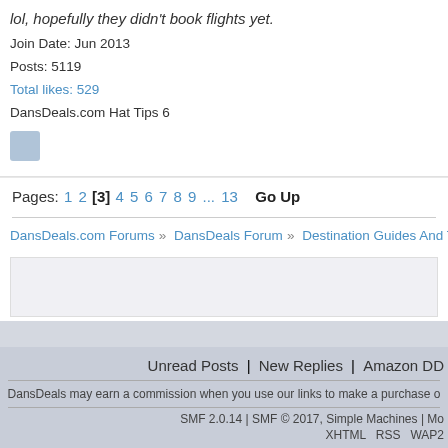lol, hopefully they didn't book flights yet.
Join Date: Jun 2013
Posts: 5119
Total likes: 529
DansDeals.com Hat Tips 6
Pages: 1 2 [3] 4 5 6 7 8 9 ... 13   Go Up
DansDeals.com Forums » DansDeals Forum » Destination Guides And Trip Planning »
Unread Posts | New Replies | Amazon DD
DansDeals may earn a commission when you use our links to make a purchase o...
SMF 2.0.14 | SMF © 2017, Simple Machines | Mo
XHTML   RSS   WAP2